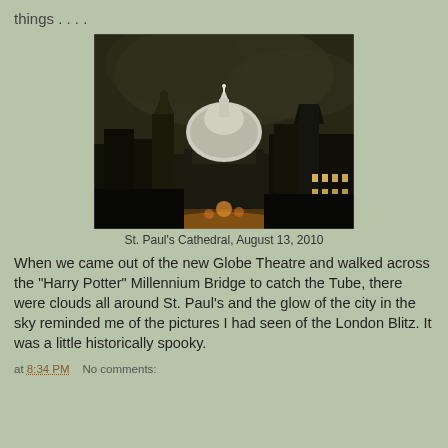things . . . .
[Figure (photo): Nighttime photograph of St. Paul's Cathedral in London, showing the illuminated dome against a dark cloudy sky with surrounding buildings visible.]
St. Paul's Cathedral, August 13, 2010
When we came out of the new Globe Theatre and walked across the "Harry Potter" Millennium Bridge to catch the Tube, there were clouds all around St. Paul's and the glow of the city in the sky reminded me of the pictures I had seen of the London Blitz. It was a little historically spooky.
at 8:34 PM   No comments: